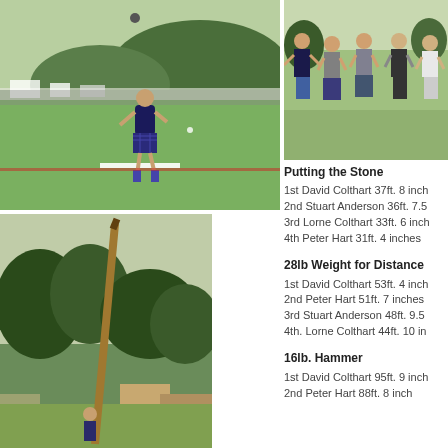[Figure (photo): Highland games athlete putting the stone on a green field with crowd and hills in background]
[Figure (photo): Group of five men posing together at Highland games, some wearing kilts]
Putting the Stone
1st David Colthart 37ft. 8 inch
2nd Stuart Anderson 36ft. 7.5
3rd Lorne Colthart 33ft. 6 inch
4th Peter Hart 31ft. 4 inches
28lb Weight for Distance
1st David Colthart 53ft. 4 inch
2nd Peter Hart 51ft. 7 inches
3rd Stuart Anderson 48ft. 9.5
4th. Lorne Colthart 44ft. 10 in
16lb. Hammer
1st David Colthart 95ft. 9 inch
2nd Peter Hart 88ft. 8 inch
[Figure (photo): Caber toss pole leaning at an angle against trees and sky at Highland games]